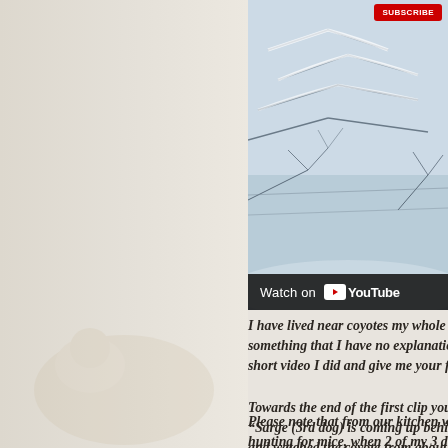[Figure (screenshot): YouTube video screenshot showing snowy trees/winter scene with a 'Watch on YouTube' bar at the bottom and a red Subscribe button in the top right corner]
I have lived near coyotes my whole life, but a something that I have no explanation for, perh short video I did and give me your feedback.
Please note that from our kitchen window we hunting for mice, when 2 of my 3 dogs came a morning wander on the crown land behind ou for cover and hid until they went by, I was at dogs, but once I could see he was not hunting and went out to film, what you see is exactly c
Towards the end of the first clip you can hear "Sarge (3rd dog) is coming up behind." Inde and watched the coyote from about 70 feet be unaware of the dogs presence until my husba